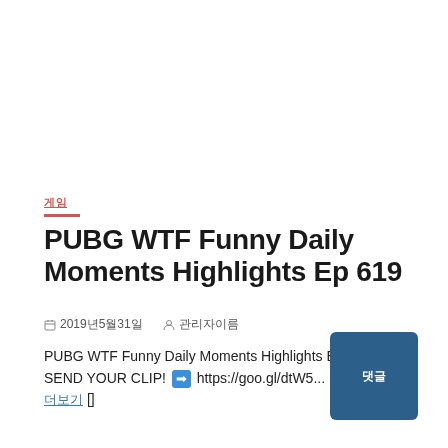게임
PUBG WTF Funny Daily Moments Highlights Ep 619
📅 2019년5월31일   👤 관리자이름
PUBG WTF Funny Daily Moments Highlights Ep 619 📩📩 SEND YOUR CLIP! ➡ https://goo.gl/dtW5... 더보기 []